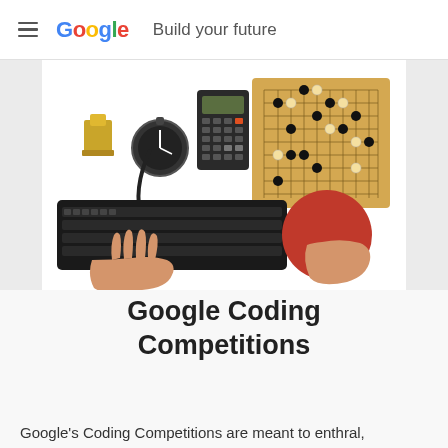Google  Build your future
[Figure (photo): Overhead view of a keyboard with two hands typing/using a mouse, a scientific calculator, a stopwatch, a toy trophy figure, and a Go board game on a white background.]
Google Coding Competitions
Google's Coding Competitions are meant to enthral, challenge, and test coders around the world. Try your